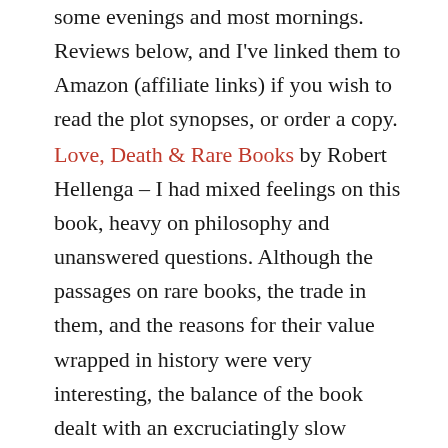some evenings and most mornings. Reviews below, and I've linked them to Amazon (affiliate links) if you wish to read the plot synopses, or order a copy.
Love, Death & Rare Books by Robert Hellenga – I had mixed feelings on this book, heavy on philosophy and unanswered questions. Although the passages on rare books, the trade in them, and the reasons for their value wrapped in history were very interesting, the balance of the book dealt with an excruciatingly slow advancement of the story. The character of Gabe was over developed, with long stream-of-thought passages that only serve to show the reader his confusion. The other characters in the book were all flat, cardboard cutouts only there to ask more